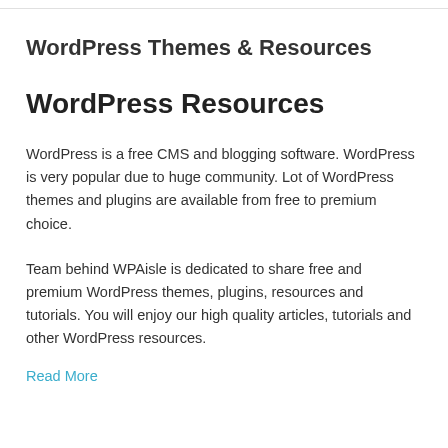WordPress Themes & Resources
WordPress Resources
WordPress is a free CMS and blogging software. WordPress is very popular due to huge community. Lot of WordPress themes and plugins are available from free to premium choice.
Team behind WPAisle is dedicated to share free and premium WordPress themes, plugins, resources and tutorials. You will enjoy our high quality articles, tutorials and other WordPress resources.
Read More